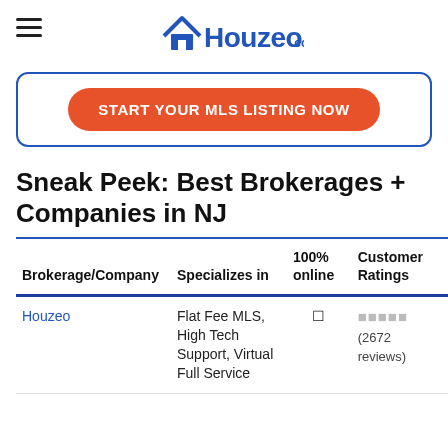Houzeo.com
[Figure (logo): Houzeo.com logo with house icon in blue]
START YOUR MLS LISTING NOW
Sneak Peek: Best Brokerages + Companies in NJ
| Brokerage/Company | Specializes in | 100% online | Customer Ratings |
| --- | --- | --- | --- |
| Houzeo | Flat Fee MLS, High Tech Support, Virtual Full Service | ✓ | ★★★★★ (2672 reviews) |